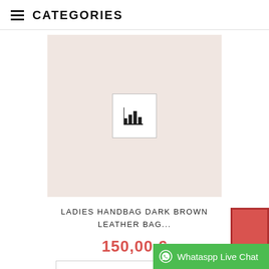CATEGORIES
[Figure (photo): Product image placeholder for ladies handbag — pinkish-beige background with a bar chart broken image icon in the center]
LADIES HANDBAG DARK BROWN LEATHER BAG...
150,00 €
ADD TO CART
Whataspp Live Chat